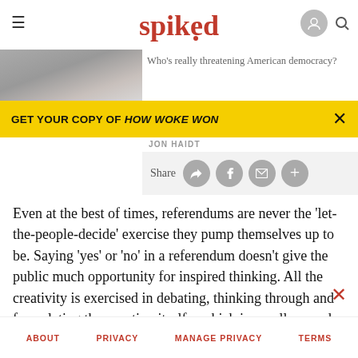spiked
[Figure (photo): Grayscale photo used as hero image for the article]
Who's really threatening American democracy?
GET YOUR COPY OF HOW WOKE WON
JON HAIDT
Share
Even at the best of times, referendums are never the 'let-the-people-decide' exercise they pump themselves up to be. Saying 'yes' or 'no' in a referendum doesn't give the public much opportunity for inspired thinking. All the creativity is exercised in debating, thinking through and formulating the question itself – which is usually posed in such a way as to limit the scope of voters' replies.
ABOUT   PRIVACY   MANAGE PRIVACY   TERMS